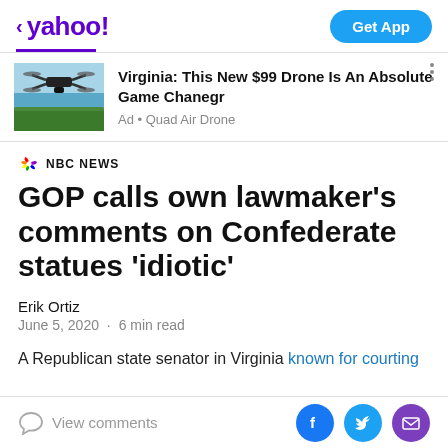< yahoo!  Get App
[Figure (screenshot): Ad banner: drone flying over water with trees. Text: Virginia: This New $99 Drone Is An Absolute Game Chanegr. Ad • Quad Air Drone]
GOP calls own lawmaker's comments on Confederate statues 'idiotic'
Erik Ortiz
June 5, 2020 · 6 min read
A Republican state senator in Virginia known for courting
View comments